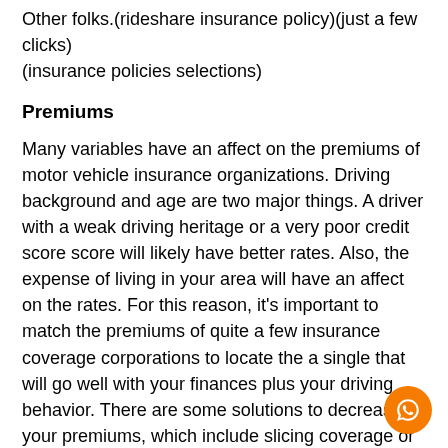Other folks.(rideshare insurance policy)(just a few clicks)(insurance policies selections)
Premiums
Many variables have an affect on the premiums of motor vehicle insurance organizations. Driving background and age are two major things. A driver with a weak driving heritage or a very poor credit score score will likely have better rates. Also, the expense of living in your area will have an affect on the rates. For this reason, it’s important to match the premiums of quite a few insurance coverage corporations to locate the a single that will go well with your finances plus your driving behavior. There are some solutions to decreased your premiums, which include slicing coverage or having a defensive driving class. You can also prefer to purchase an entire yr of protection up entrance.(bill on the net)(personnel discounts)(at fault incident)(coated incident)
Along with the above mentioned...